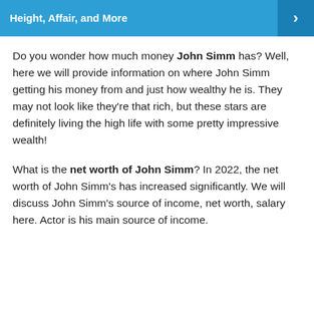Height, Affair, and More
Do you wonder how much money John Simm has? Well, here we will provide information on where John Simm getting his money from and just how wealthy he is. They may not look like they're that rich, but these stars are definitely living the high life with some pretty impressive wealth!
What is the net worth of John Simm? In 2022, the net worth of John Simm's has increased significantly. We will discuss John Simm's source of income, net worth, salary here. Actor is his main source of income.